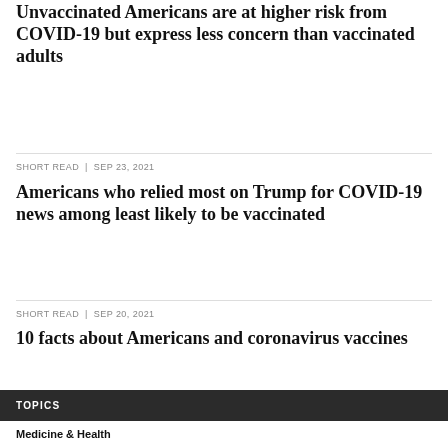Unvaccinated Americans are at higher risk from COVID-19 but express less concern than vaccinated adults
SHORT READ | SEP 23, 2021
Americans who relied most on Trump for COVID-19 news among least likely to be vaccinated
SHORT READ | SEP 20, 2021
10 facts about Americans and coronavirus vaccines
TOPICS
Medicine & Health